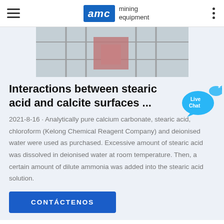AMC mining equipment
[Figure (photo): Industrial equipment or facility with scaffolding and mist/spray, reddish equipment visible through metal framework.]
Interactions between stearic acid and calcite surfaces ...
2021-8-16 · Analytically pure calcium carbonate, stearic acid, chloroform (Kelong Chemical Reagent Company) and deionised water were used as purchased. Excessive amount of stearic acid was dissolved in deionised water at room temperature. Then, a certain amount of dilute ammonia was added into the stearic acid solution.
CONTÁCTENOS